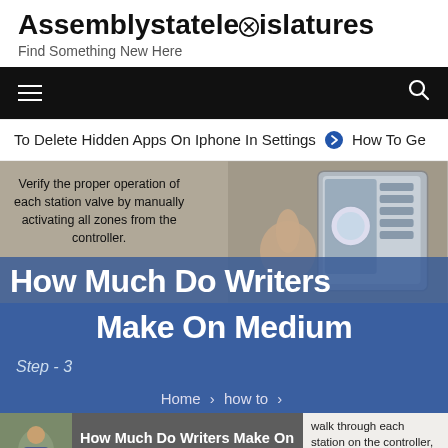Assemblystatelegislatures
Find Something New Here
[Figure (screenshot): Navigation bar with hamburger menu on left and search icon on right, black background]
To Delete Hidden Apps On Iphone In Settings  ⊙  How To Ge
[Figure (photo): Hero image split: left gray panel with text 'Verify the proper operation of each station valve by manually activating all zones from the controller.', right panel shows a hand operating an irrigation controller box]
How Much Do Writers Make On Medium
Step - 3
Home > how to >
How Much Do Writers Make On Medium
walk through each station on the controller, checking for proper operation of the zone